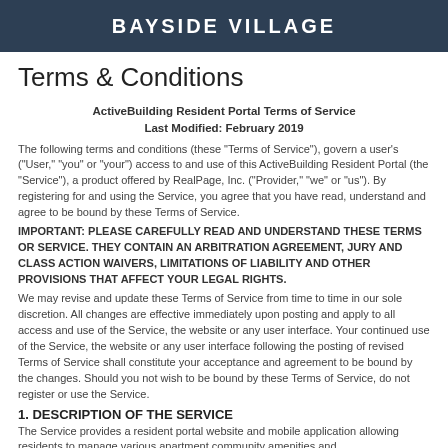BAYSIDE VILLAGE
Terms & Conditions
ActiveBuilding Resident Portal Terms of Service
Last Modified: February 2019
The following terms and conditions (these "Terms of Service"), govern a user's ("User," "you" or "your") access to and use of this ActiveBuilding Resident Portal (the "Service"), a product offered by RealPage, Inc. ("Provider," "we" or "us"). By registering for and using the Service, you agree that you have read, understand and agree to be bound by these Terms of Service.
IMPORTANT: PLEASE CAREFULLY READ AND UNDERSTAND THESE TERMS OR SERVICE. THEY CONTAIN AN ARBITRATION AGREEMENT, JURY AND CLASS ACTION WAIVERS, LIMITATIONS OF LIABILITY AND OTHER PROVISIONS THAT AFFECT YOUR LEGAL RIGHTS.
We may revise and update these Terms of Service from time to time in our sole discretion. All changes are effective immediately upon posting and apply to all access and use of the Service, the website or any user interface. Your continued use of the Service, the website or any user interface following the posting of revised Terms of Service shall constitute your acceptance and agreement to be bound by the changes. Should you not wish to be bound by these Terms of Service, do not register or use the Service.
1. DESCRIPTION OF THE SERVICE
The Service provides a resident portal website and mobile application allowing residents to manage various apartment community amenities and